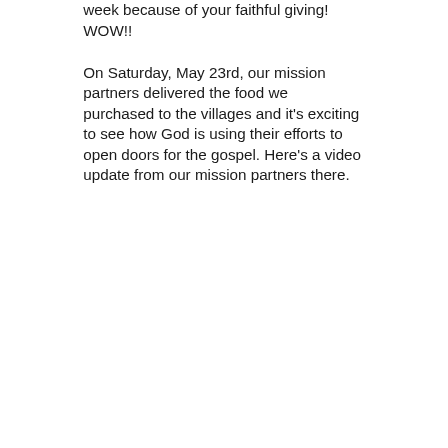week because of your faithful giving! WOW!!
On Saturday, May 23rd, our mission partners delivered the food we purchased to the villages and it's exciting to see how God is using their efforts to open doors for the gospel. Here's a video update from our mission partners there.